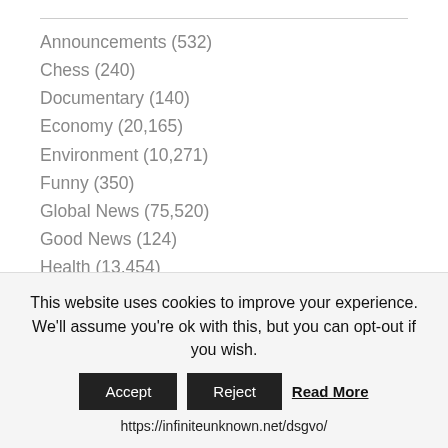Announcements (532)
Chess (240)
Documentary (140)
Economy (20,165)
Environment (10,271)
Funny (350)
Global News (75,520)
Good News (124)
Health (13,454)
Music (75)
Outdoor (88)
Politics (52,277)
Preparedness (124)
This website uses cookies to improve your experience. We'll assume you're ok with this, but you can opt-out if you wish.
Accept | Reject | Read More
https://infiniteunknown.net/dsgvo/